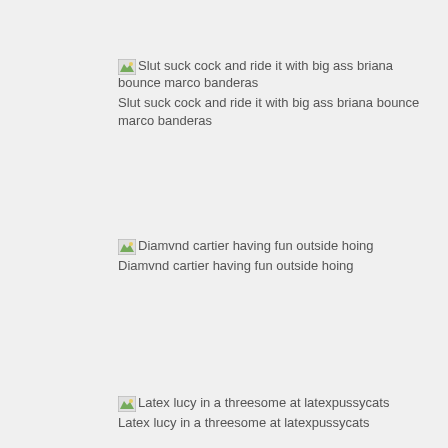[Figure (other): Broken image thumbnail with alt text: Slut suck cock and ride it with big ass briana bounce marco banderas]
Slut suck cock and ride it with big ass briana bounce marco banderas
[Figure (other): Broken image thumbnail with alt text: Diamvnd cartier having fun outside hoing]
Diamvnd cartier having fun outside hoing
[Figure (other): Broken image thumbnail with alt text: Latex lucy in a threesome at latexpussycats]
Latex lucy in a threesome at latexpussycats